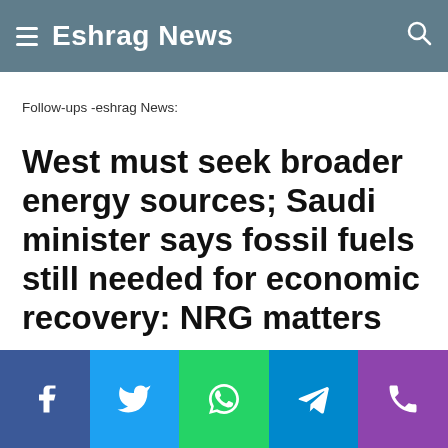Eshrag News
Follow-ups -eshrag News:
West must seek broader energy sources; Saudi minister says fossil fuels still needed for economic recovery: NRG matters